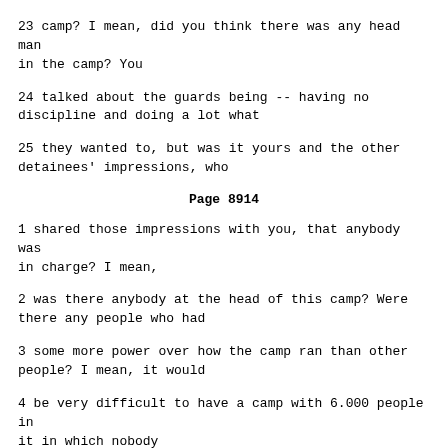23 camp? I mean, did you think there was any head man in the camp? You
24 talked about the guards being -- having no discipline and doing a lot what
25 they wanted to, but was it yours and the other detainees' impressions, who
Page 8914
1 shared those impressions with you, that anybody was in charge? I mean,
2 was there anybody at the head of this camp? Were there any people who had
3 some more power over how the camp ran than other people? I mean, it would
4 be very difficult to have a camp with 6.000 people in it in which nobody
5 was in charge. What was your impression of how the camp was run?
6 A. I don't know. To tell you the truth, I wasn't really interested
7 that much. I was only looking to survive it all. What we could see,